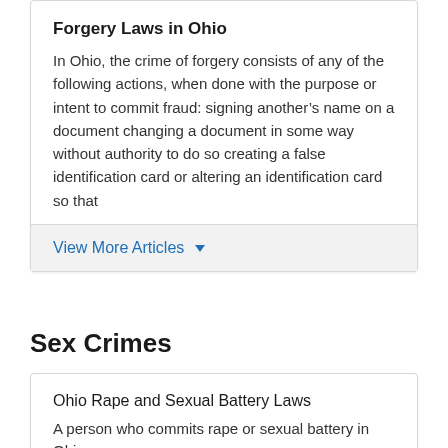Forgery Laws in Ohio
In Ohio, the crime of forgery consists of any of the following actions, when done with the purpose or intent to commit fraud: signing another's name on a document changing a document in some way without authority to do so creating a false identification card or altering an identification card so that
View More Articles
Sex Crimes
Ohio Rape and Sexual Battery Laws
A person who commits rape or sexual battery in Ohio